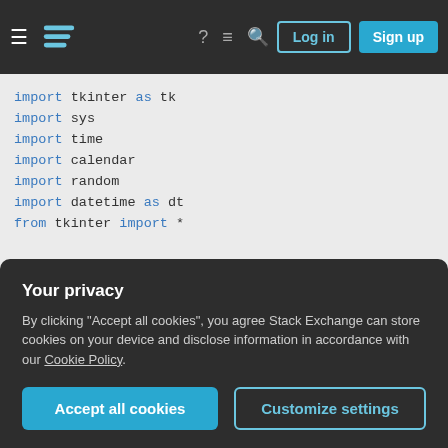Stack Exchange navigation bar with hamburger menu, logo, help, chat, search icons, Log in and Sign up buttons
[Figure (screenshot): Code editor area showing Python import statements and beginning of a program with tkinter, sys, time, calendar, random, datetime imports, a root window creation, and start of a DICTIONARY PHRASES string]
Your privacy
By clicking "Accept all cookies", you agree Stack Exchange can store cookies on your device and disclose information in accordance with our Cookie Policy.
Accept all cookies   Customize settings